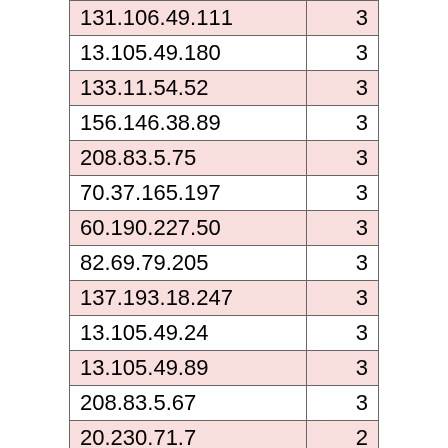| IP Address | Count |
| --- | --- |
| 131.106.49.111 | 3 |
| 13.105.49.180 | 3 |
| 133.11.54.52 | 3 |
| 156.146.38.89 | 3 |
| 208.83.5.75 | 3 |
| 70.37.165.197 | 3 |
| 60.190.227.50 | 3 |
| 82.69.79.205 | 3 |
| 137.193.18.247 | 3 |
| 13.105.49.24 | 3 |
| 13.105.49.89 | 3 |
| 208.83.5.67 | 3 |
| 20.230.71.7 | 2 |
| 13.105.49.35 | 2 |
| 64.78.56.229 | 2 |
| 40.70.241.40 | 2 |
| 188.214.9.233 | 2 |
| 20.65.107.254 | 2 |
| 81.82.127.66 | 2 |
| 167.71.63.28 | 2 |